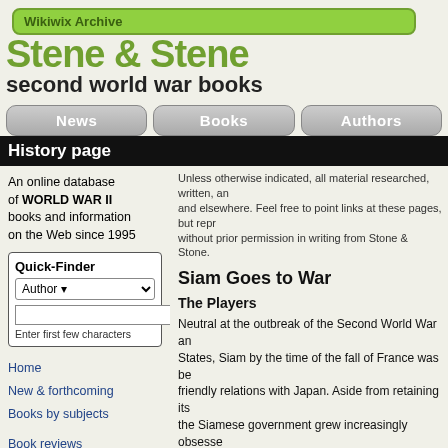Wikiwix Archive
second world war books
News | Books | Authors
History page
An online database of WORLD WAR II books and information on the Web since 1995
Quick-Finder Author Find Enter first few characters
Home
New & forthcoming
Books by subjects
Book reviews
Recommended reading
Book forum
Latest book feedback
Popular resources
Random book
Unless otherwise indicated, all material researched, written, and elsewhere. Feel free to point links at these pages, but repr without prior permission in writing from Stone & Stone.
Siam Goes to War
The Players
Neutral at the outbreak of the Second World War and States, Siam by the time of the fall of France was be friendly relations with Japan. Aside from retaining its the Siamese government grew increasingly obsesse China since the 19th century, and its diplomatic effor support.
Japan viewed Siam and Indo-China as natural comp The fall of France presented immediate opportunities recognized that its ambitions in that region must som Indo-China while simultaneously providing the maxim as overwhelmingly strong as its potential adversaries playing its hand.
Whatever the Japanese strength in the region, West anding it as, it was impossible to offer Siam